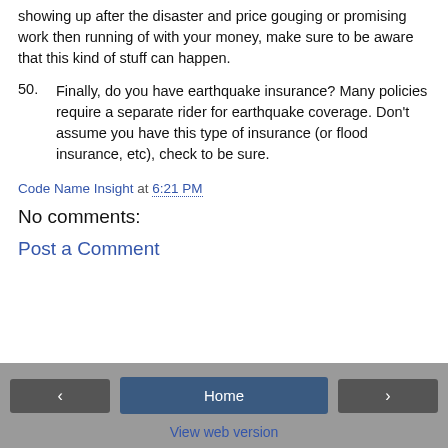showing up after the disaster and price gouging or promising work then running of with your money, make sure to be aware that this kind of stuff can happen.
50. Finally, do you have earthquake insurance? Many policies require a separate rider for earthquake coverage. Don't assume you have this type of insurance (or flood insurance, etc), check to be sure.
Code Name Insight at 6:21 PM
No comments:
Post a Comment
< Home > View web version